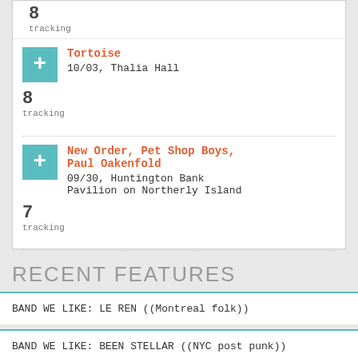8 tracking
Tortoise — 10/03, Thalia Hall — 8 tracking
New Order, Pet Shop Boys, Paul Oakenfold — 09/30, Huntington Bank Pavilion on Northerly Island — 7 tracking
Dinosaur Jr., Ryley Walker — 09/30, The Vic Theatre — 7 tracking
MORE POPULAR SHOWS >
RECENT FEATURES
BAND WE LIKE: LE REN ((Montreal folk))
BAND WE LIKE: BEEN STELLAR ((NYC post punk))